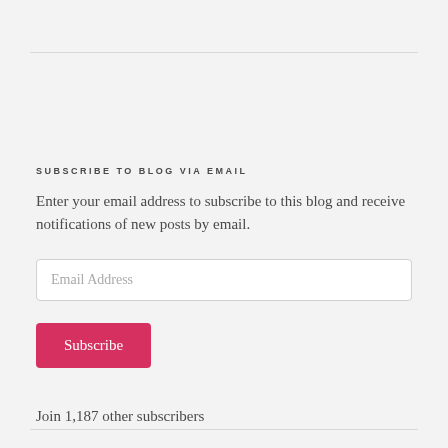SUBSCRIBE TO BLOG VIA EMAIL
Enter your email address to subscribe to this blog and receive notifications of new posts by email.
Join 1,187 other subscribers